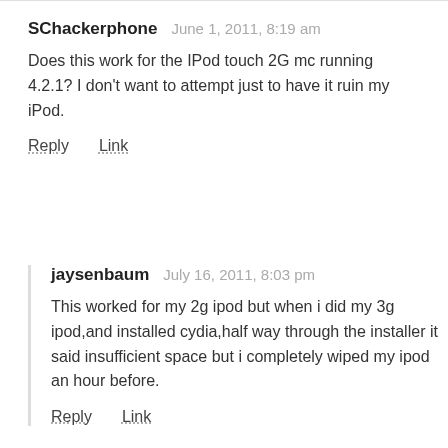SChackerphone   June 1, 2011, 8:19 am
Does this work for the IPod touch 2G mc running 4.2.1? I don't want to attempt just to have it ruin my iPod.
Reply   Link
jaysenbaum   July 16, 2011, 8:03 pm
This worked for my 2g ipod but when i did my 3g ipod,and installed cydia,half way through the installer it said insufficient space but i completely wiped my ipod an hour before.
Reply   Link